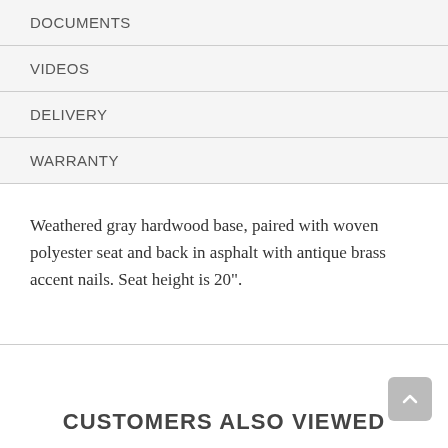DOCUMENTS
VIDEOS
DELIVERY
WARRANTY
Weathered gray hardwood base, paired with woven polyester seat and back in asphalt with antique brass accent nails. Seat height is 20".
CUSTOMERS ALSO VIEWED